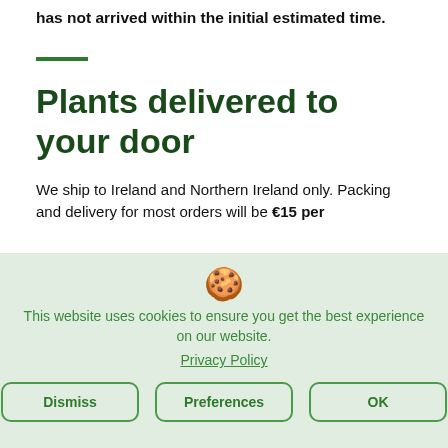has not arrived within the initial estimated time.
Plants delivered to your door
We ship to Ireland and Northern Ireland only. Packing and delivery for most orders will be €15 per
This website uses cookies to ensure you get the best experience on our website.
Privacy Policy
Dismiss
Preferences
OK